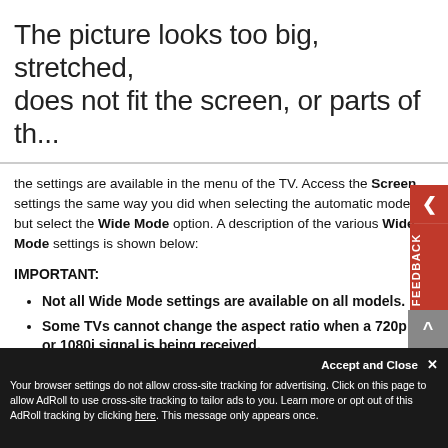The picture looks too big, stretched, does not fit the screen, or parts of th...
the settings are available in the menu of the TV. Access the Screen settings the same way you did when selecting the automatic modes, but select the Wide Mode option. A description of the various Wide Mode settings is shown below:
IMPORTANT:
Not all Wide Mode settings are available on all models.
Some TVs cannot change the aspect ratio when a 720p or 1080i signal is being received.
Be aware that the picture may appear stretched or parts of the picture may be cut off when using a zoom or wide mode option. If you are watching a sports
Accept and Close ×
Your browser settings do not allow cross-site tracking for advertising. Click on this page to allow AdRoll to use cross-site tracking to tailor ads to you. Learn more or opt out of this AdRoll tracking by clicking here. This message only appears once.